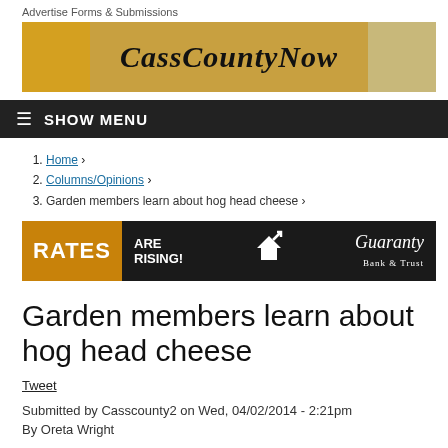Advertise Forms & Submissions
[Figure (illustration): CassCountyNow website banner/logo with train caboose on left, gothic blackletter CassCountyNow text in center, historic building on right]
≡ SHOW MENU
Home ›
Columns/Opinions ›
Garden members learn about hog head cheese ›
[Figure (illustration): Advertisement banner: RATES ARE RISING! with house and upward arrow icon, Guaranty Bank & Trust logo]
Garden members learn about hog head cheese
Tweet
Submitted by Casscounty2 on Wed, 04/02/2014 - 2:21pm
By Oreta Wright